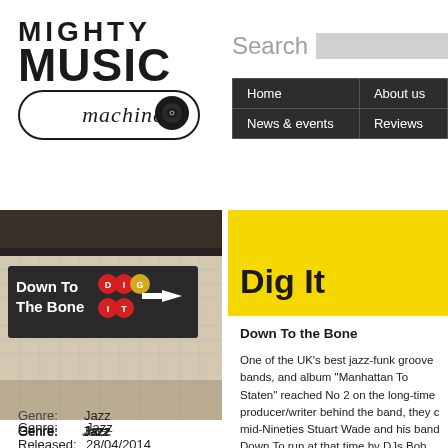[Figure (logo): Mighty Music Machine logo with bold text and vinyl record illustration inside an oval]
Search
[Figure (screenshot): Navigation bar with Home, About us, News & events, Reviews on dark background]
[Figure (photo): Black and white photo of a subway station sign reading Down To The Bone with DIG IT subway line circles and an arrow]
Genre: Jazz
Released: 28/04/2014
Label: Dome Records
Dig It
Down To the Bone
One of the UK's best jazz-funk groove bands, and album "Manhattan To Staten" reached No 2 on the long-time producer/writer behind the band, they c mid-Nineties Stuart Wade and his band Down To run at that time by DJs Bob Jones and Simon Du funky grooves into the UK and US jazz groove sc Jazz Album (From Manhattan To Staten) and beco the US. The new album is one of their strongest t track "Dig It" and "The Sweetness". Other hig